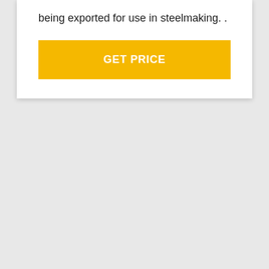being exported for use in steelmaking. .
GET PRICE